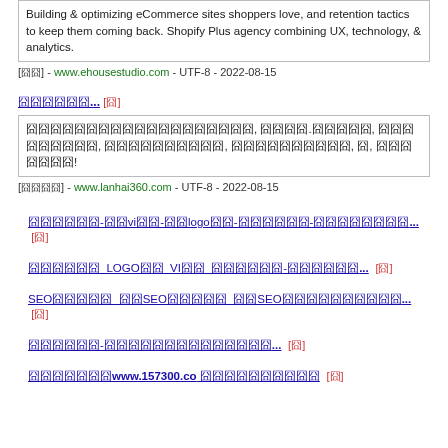Building & optimizing eCommerce sites shoppers love, and retention tactics to keep them coming back. Shopify Plus agency combining UX, technology, & analytics.
[囧] - www.ehousestudio.com - UTF-8 - 2022-08-15
囧囧囧囧囧囧... [囧]
囧囧囧囧囧囧囧囧囧囧囧囧囧囧囧囧囧囧囧, 囧囧囧囧.囧囧囧囧囧, 囧囧囧囧囧囧囧囧囧, 囧囧囧囧囧囧囧囧囧囧, 囧囧囧囧囧囧囧囧囧囧, 囧, 囧囧囧囧囧囧囧!
[囧囧囧囧] - www.lanhai360.com - UTF-8 - 2022-08-15
囧囧囧囧囧囧-囧囧vi囧囧-囧囧logo囧囧-囧囧囧囧囧囧-囧囧囧囧囧囧囧囧... [囧]
囧囧囧囧囧囧_LOGO囧囧_VI囧囧_囧囧囧囧囧囧-囧囧囧囧囧囧... [囧]
SEO囧囧囧囧囧_囧囧SEO囧囧囧囧囧_囧囧SEO囧囧囧囧囧囧囧囧囧囧... [囧]
囧囧囧囧囧囧-囧囧囧囧囧囧囧囧囧囧囧囧囧囧... [囧]
囧囧囧囧囧囧囧www.157300.co 囧囧囧囧囧囧囧囧囧囧 [囧]